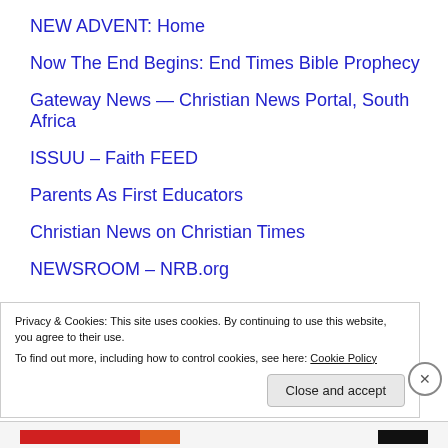NEW ADVENT: Home
Now The End Begins: End Times Bible Prophecy
Gateway News — Christian News Portal, South Africa
ISSUU – Faith FEED
Parents As First Educators
Christian News on Christian Times
NEWSROOM – NRB.org
Privacy & Cookies: This site uses cookies. By continuing to use this website, you agree to their use.
To find out more, including how to control cookies, see here: Cookie Policy
Close and accept